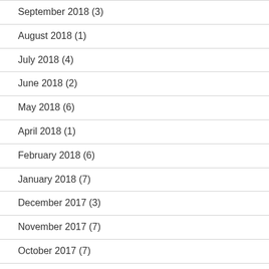September 2018 (3)
August 2018 (1)
July 2018 (4)
June 2018 (2)
May 2018 (6)
April 2018 (1)
February 2018 (6)
January 2018 (7)
December 2017 (3)
November 2017 (7)
October 2017 (7)